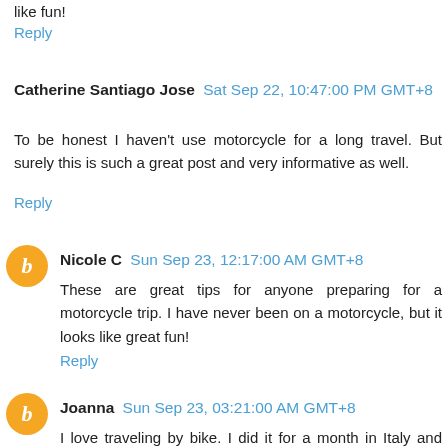like fun!
Reply
Catherine Santiago Jose  Sat Sep 22, 10:47:00 PM GMT+8
To be honest I haven't use motorcycle for a long travel. But surely this is such a great post and very informative as well.
Reply
Nicole C  Sun Sep 23, 12:17:00 AM GMT+8
These are great tips for anyone preparing for a motorcycle trip. I have never been on a motorcycle, but it looks like great fun!
Reply
Joanna  Sun Sep 23, 03:21:00 AM GMT+8
I love traveling by bike. I did it for a month in Italy and loved